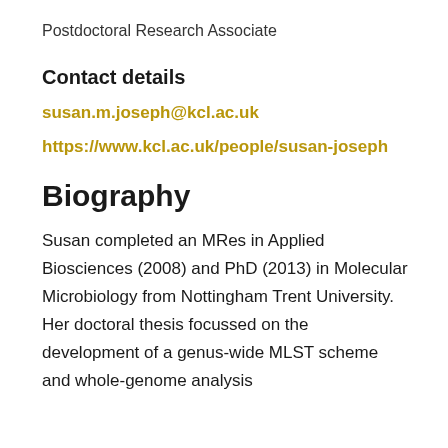Postdoctoral Research Associate
Contact details
susan.m.joseph@kcl.ac.uk
https://www.kcl.ac.uk/people/susan-joseph
Biography
Susan completed an MRes in Applied Biosciences (2008) and PhD (2013) in Molecular Microbiology from Nottingham Trent University. Her doctoral thesis focussed on the development of a genus-wide MLST scheme and whole-genome analysis